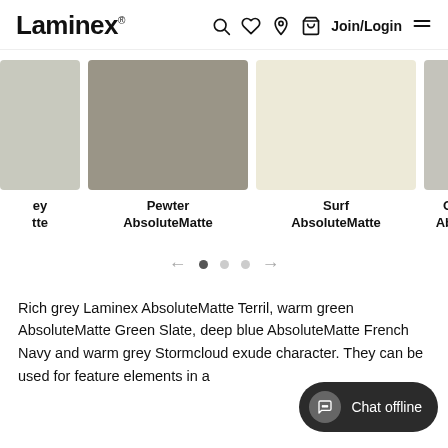Laminex — Join/Login
[Figure (illustration): Row of color swatches: partial light grey swatch on left (clipped), Pewter AbsoluteMatte (warm medium grey), Surf AbsoluteMatte (off-white/cream), and partial warm grey swatch on right (clipped). Labels below each swatch show product names.]
ey tte | Pewter AbsoluteMatte | Surf AbsoluteMatte | O... Abs...
[Figure (infographic): Pagination controls: left arrow, three dots (first filled/active, two empty), right arrow.]
Rich grey Laminex AbsoluteMatte Terril, warm green AbsoluteMatte Green Slate, deep blue AbsoluteMatte French Navy and warm grey Stormcloud exude character. They can be used for feature elements in a